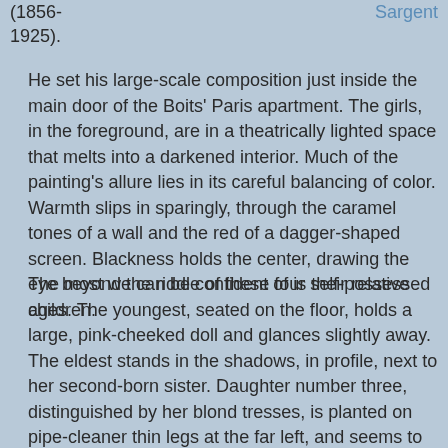Sargent (1856-1925).
He set his large-scale composition just inside the main door of the Boits' Paris apartment. The girls, in the foreground, are in a theatrically lighted space that melts into a darkened interior. Much of the painting's allure lies in its careful balancing of color. Warmth slips in sparingly, through the caramel tones of a wall and the red of a dagger-shaped screen. Blackness holds the center, drawing the eye beyond the riddle of these four self-possessed children.
The most we can be confident of is their relative ages. The youngest, seated on the floor, holds a large, pink-cheeked doll and glances slightly away. The eldest stands in the shadows, in profile, next to her second-born sister. Daughter number three, distinguished by her blond tresses, is planted on pipe-cleaner thin legs at the far left, and seems to gaze inward. It is only the second-born daughter, dead center you suddenly realize